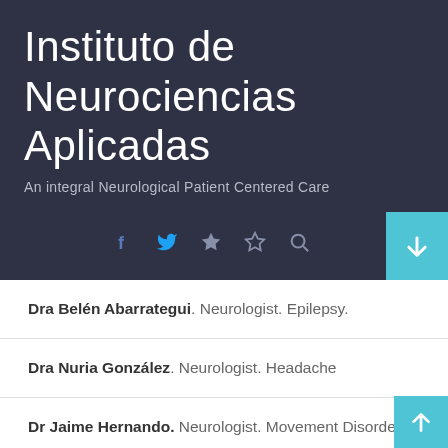Instituto de Neurociencias Aplicadas
An integral Neurological Patient Centered Care
Dra Belén Abarrategui. Neurologist. Epilepsy.
Dra Nuria González. Neurologist. Headache
Dr Jaime Hernando. Neurologist. Movement Disorders